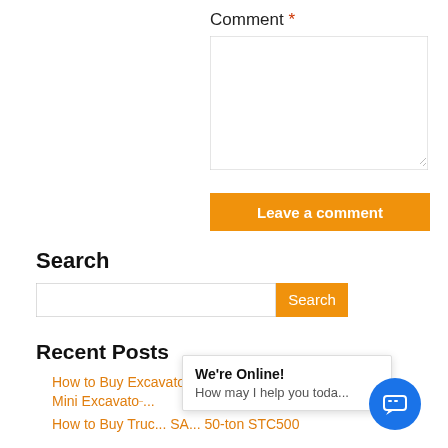Comment *
[Figure (screenshot): Text area input field for comment]
Leave a comment
Search
[Figure (screenshot): Search input field with Search button]
Recent Posts
How to Buy Excavator and Overview of XCMG 2-ton Mini Excavato...
How to Buy Truc... SA... 50-ton STC500
[Figure (screenshot): Live chat popup bubble with 'We're Online! How may I help you toda...' tooltip]